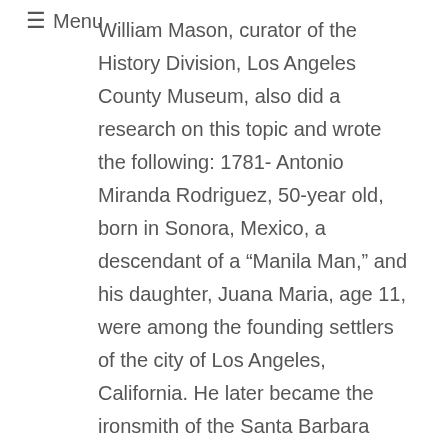≡ Menu
William Mason, curator of the History Division, Los Angeles County Museum, also did a research on this topic and wrote the following: 1781- Antonio Miranda Rodriguez, 50-year old, born in Sonora, Mexico, a descendant of a “Manila Man,” and his daughter, Juana Maria, age 11, were among the founding settlers of the city of Los Angeles, California. He later became the ironsmith of the Santa Barbara Mission in California where he lived until his death. He is buried in the Santa Barbara Mission church.
Based on the above sources, there is really the huge probability that one of the founders of Los Angeles is a true-blooded Pinoy. Already, there have been some people who cited the need to give Antonio